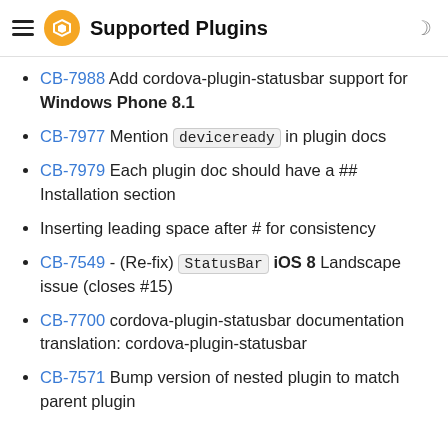Supported Plugins
CB-7988 Add cordova-plugin-statusbar support for Windows Phone 8.1
CB-7977 Mention deviceready in plugin docs
CB-7979 Each plugin doc should have a ## Installation section
Inserting leading space after # for consistency
CB-7549 - (Re-fix) StatusBar iOS 8 Landscape issue (closes #15)
CB-7700 cordova-plugin-statusbar documentation translation: cordova-plugin-statusbar
CB-7571 Bump version of nested plugin to match parent plugin
0.1.8 (Sep 17, 2014)